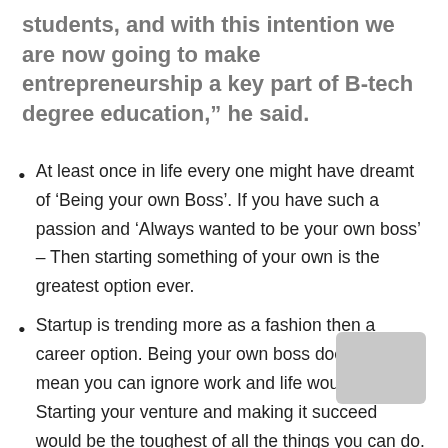students, and with this intention we are now going to make entrepreneurship a key part of B-tech degree education," he said.
At least once in life every one might have dreamt of 'Being your own Boss'. If you have such a passion and 'Always wanted to be your own boss' – Then starting something of your own is the greatest option ever.
Startup is trending more as a fashion then a career option. Being your own boss does not mean you can ignore work and life would be easy. Starting your venture and making it succeed would be the toughest of all the things you can do. It will have